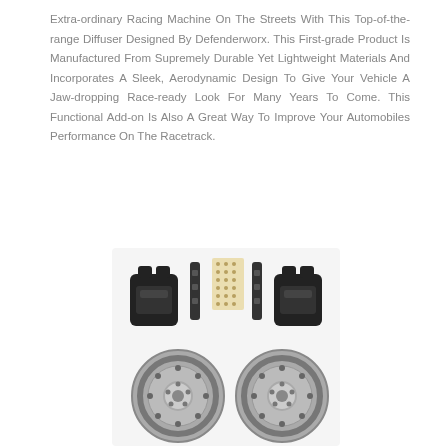Extra-ordinary Racing Machine On The Streets With This Top-of-the-range Diffuser Designed By Defenderworx. This First-grade Product Is Manufactured From Supremely Durable Yet Lightweight Materials And Incorporates A Sleek, Aerodynamic Design To Give Your Vehicle A Jaw-dropping Race-ready Look For Many Years To Come. This Functional Add-on Is Also A Great Way To Improve Your Automobiles Performance On The Racetrack.
[Figure (photo): Brake kit components including two large drilled rotors, two black calipers, mounting brackets, and a set of bolts/hardware laid out on a white background.]